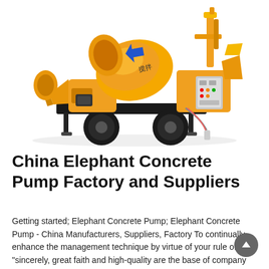[Figure (photo): Yellow concrete mixer pump machine on a wheeled trailer with a rotating drum, control panel, hopper, and hydraulic arm — Elephant Concrete Pump product photo on white background.]
China Elephant Concrete Pump Factory and Suppliers
Getting started; Elephant Concrete Pump; Elephant Concrete Pump - China Manufacturers, Suppliers, Factory To continually enhance the management technique by virtue of your rule of "sincerely, great faith and high-quality are the base of company development", we widely absorb the essence of similar merchandise internationally, and